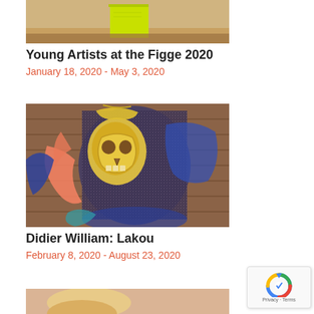[Figure (photo): Top portion of a museum gallery interior with a lime-green sculptural box on a brown floor]
Young Artists at the Figge 2020
January 18, 2020 - May 3, 2020
[Figure (photo): Colorful textile or beaded artwork depicting a decorative skull-like figure with yellow, pink, and blue patterns on a wooden background — Didier William: Lakou]
Didier William: Lakou
February 8, 2020 - August 23, 2020
[Figure (photo): Partial view of a third exhibition image showing a person with blonde hair]